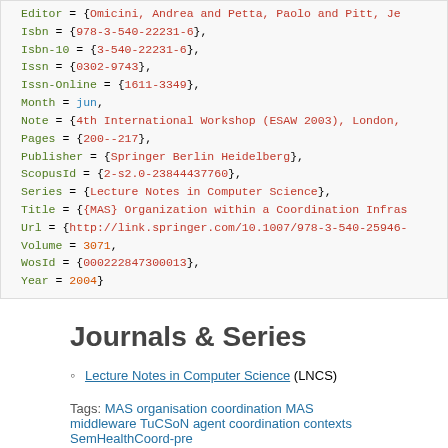Editor = {Omicini, Andrea and Petta, Paolo and Pitt, Je...
Isbn = {978-3-540-22231-6},
Isbn-10 = {3-540-22231-6},
Issn = {0302-9743},
Issn-Online = {1611-3349},
Month = jun,
Note = {4th International Workshop (ESAW 2003), London,...
Pages = {200--217},
Publisher = {Springer Berlin Heidelberg},
ScopusId = {2-s2.0-23844437760},
Series = {Lecture Notes in Computer Science},
Title = {{MAS} Organization within a Coordination Infras...
Url = {http://link.springer.com/10.1007/978-3-540-25946-...
Volume = 3071,
WosId = {000222847300013},
Year = 2004}
Journals & Series
Lecture Notes in Computer Science (LNCS)
Tags: MAS organisation coordination MAS middleware TuCSoN agent coordination contexts SemHealthCoord-pre
Created by Andrea Omicini on 12/10/2020 17:48